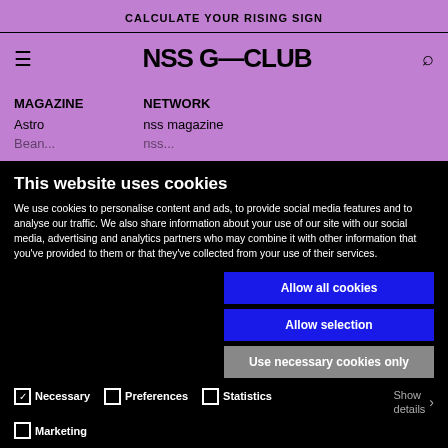CALCULATE YOUR RISING SIGN
NSS G—CLUB
MAGAZINE
Astro
NETWORK
nss magazine
This website uses cookies
We use cookies to personalise content and ads, to provide social media features and to analyse our traffic. We also share information about your use of our site with our social media, advertising and analytics partners who may combine it with other information that you've provided to them or that they've collected from your use of their services.
Allow all cookies
Allow selection
Use necessary cookies only
Necessary  Preferences  Statistics  Marketing  Show details